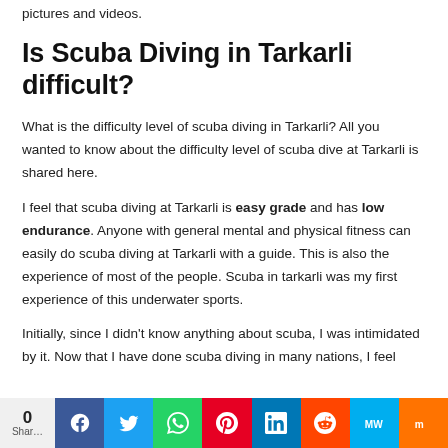pictures and videos.
Is Scuba Diving in Tarkarli difficult?
What is the difficulty level of scuba diving in Tarkarli? All you wanted to know about the difficulty level of scuba dive at Tarkarli is shared here.
I feel that scuba diving at Tarkarli is easy grade and has low endurance. Anyone with general mental and physical fitness can easily do scuba diving at Tarkarli with a guide. This is also the experience of most of the people. Scuba in tarkarli was my first experience of this underwater sports.
Initially, since I didn't know anything about scuba, I was intimidated by it. Now that I have done scuba diving in many nations, I feel